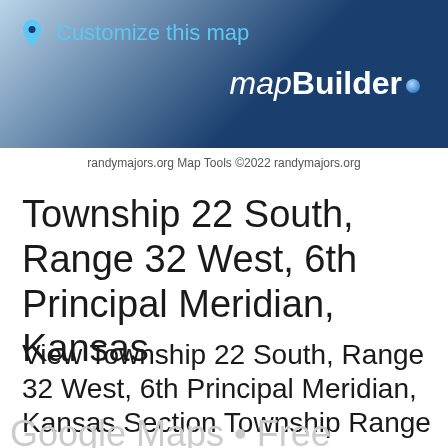[Figure (screenshot): mapBuilder header banner with blue gradient background, location pin icon, 'Customize this map' link text in light blue, and 'mapBuilder' branding with blue dot]
randymajors.org Map Tools ©2022 randymajors.org
Township 22 South, Range 32 West, 6th Principal Meridian, Kansas
View Township 22 South, Range 32 West, 6th Principal Meridian, Kansas Section Township Range map on
Google Maps • Free